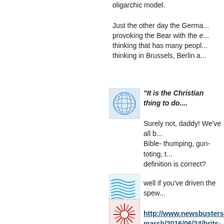oligarchic model.
Just the other day the Germa... provoking the Bear with the e... thinking that has many peopl... thinking in Brussels, Berlin a...
[Figure (illustration): Blue wavy lines avatar icon]
well if you've driven the spew...
http://www.newsbusters.or... marsh/2016/06/24/brits-leav... falling-apart
Posted...
[Figure (illustration): Blue globe/grid avatar icon]
"It is the Christian thing to do....
Surely not, daddy! We've all b... Bible- thumping, gun-toting, t... definition is correct?
[Figure (illustration): Red/white starburst avatar icon (partially visible)]